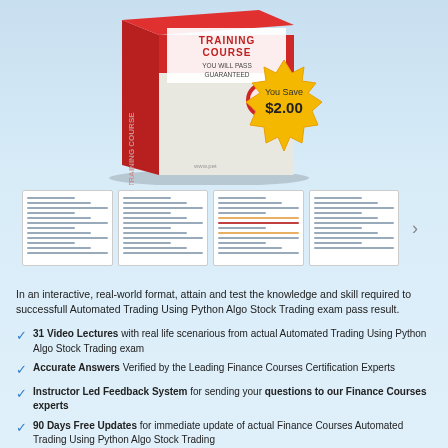[Figure (illustration): Red training course box product illustration with 'TRAINING COURSE' text and 'YOU WILL PASS GUARANTEED' subtitle, alongside a gold starburst badge showing 'You Save $2.00']
[Figure (illustration): Thumbnail strip of four document preview images with a right arrow navigation button]
In an interactive, real-world format, attain and test the knowledge and skill required to successfull Automated Trading Using Python Algo Stock Trading exam pass result.
31 Video Lectures with real life scenarious from actual Automated Trading Using Python Algo Stock Trading exam
Accurate Answers Verified by the Leading Finance Courses Certification Experts
Instructor Led Feedback System for sending your questions to our Finance Courses experts
90 Days Free Updates for immediate update of actual Finance Courses Automated Trading Using Python Algo Stock Trading